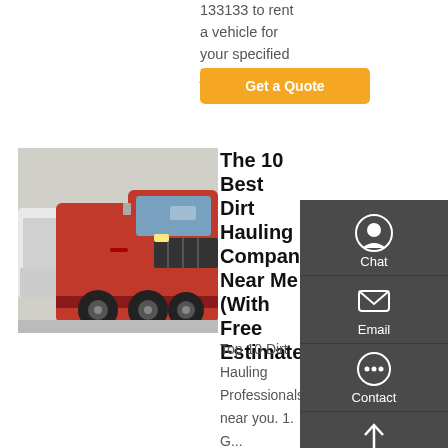133133 to rent a vehicle for your specified job.
Get a Quote
[Figure (photo): Red SINOTRUK HOWO tractor truck parked in a lot with white trucks in background]
The 10 Best Dirt Hauling Companies Near Me (With Free Estimates)
Top 10 Dirt Hauling Professionals near you. 1. G... Transport Service's. Was e... schedule, responded quickly and accommodated my schedule. See more. Was easy to schedule, responded quickly and
[Figure (infographic): Sidebar panel with Chat, Email, Contact, and Top navigation icons on dark grey background]